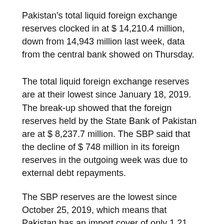Pakistan's total liquid foreign exchange reserves clocked in at $ 14,210.4 million, down from 14,943 million last week, data from the central bank showed on Thursday.
The total liquid foreign exchange reserves are at their lowest since January 18, 2019. The break-up showed that the foreign reserves held by the State Bank of Pakistan are at $ 8,237.7 million. The SBP said that the decline of $ 748 million in its foreign reserves in the outgoing week was due to external debt repayments.
The SBP reserves are the lowest since October 25, 2019, which means that Pakistan has an import cover of only 1.21 months. Meanwhile, the net foreign reserves held by commercial banks stood at, 5,972.7 million.